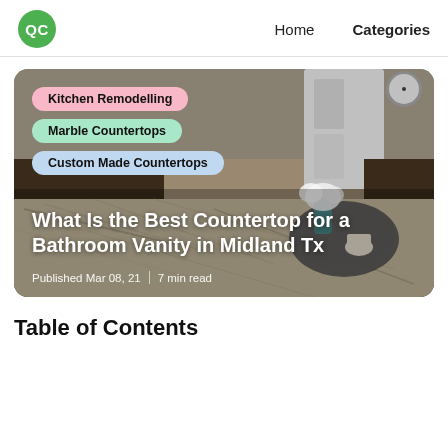QC  Home  Categories
[Figure (photo): Kitchen countertop photo with tags: Kitchen Remodelling, Marble Countertops, Custom Made Countertops. Article title overlay: What Is the Best Countertop for a Bathroom Vanity in Midland Tx. Published Mar 08, 21 | 7 min read]
Table of Contents